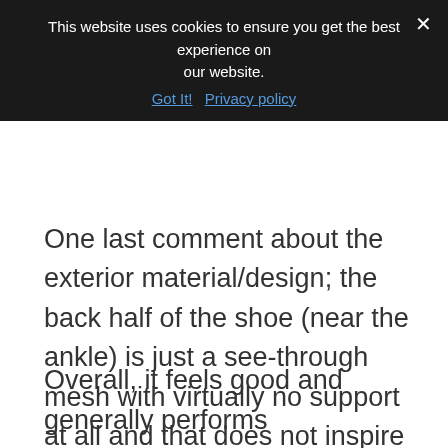This website uses cookies to ensure you get the best experience on our website.
Got It!  Privacy policy
One last comment about the exterior material/design; the back half of the shoe (near the ankle) is just a see-through mesh with virtually no support at all and that does not inspire confidence for aggressive lateral moves all day long in spite of the better performance materials on the front of the shoe.
Overall, it feels good and generally performs